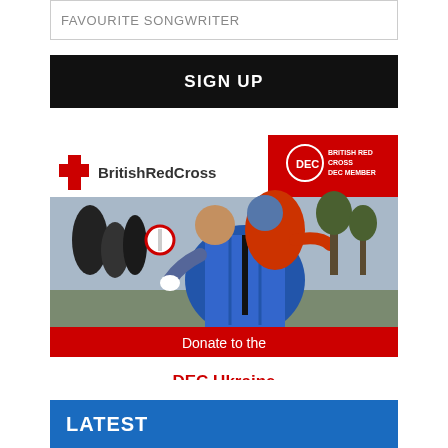FAVOURITE SONGWRITER
SIGN UP
[Figure (photo): British Red Cross DEC Ukraine Humanitarian Appeal advertisement. Features the British Red Cross logo and DEC Member badge at top. Central photo shows people embracing outdoors with a blue puffer jacket visible. Red banner at bottom reads 'Donate to the DEC Ukraine Humanitarian Appeal'.]
LATEST